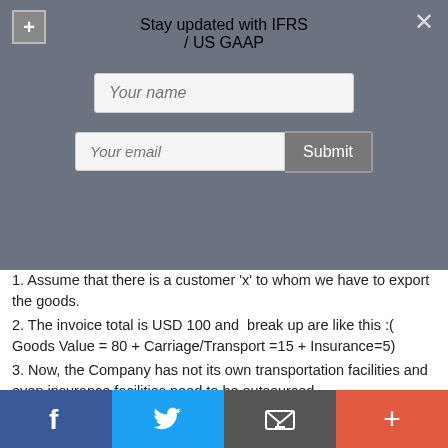Stay updated with IFRS / US GAAP
Your name
Your email
1. Assume that there is a customer 'x' to whom we have to export the goods.
2. The invoice total is USD 100 and break up are like this :( Goods Value = 80 + Carriage/Transport =15 + Insurance=5)
3. Now, the Company has not its own transportation facilities and even insurance facilities need to be outsourced.
4. In doing so, the company pays USD 8 as
f  [twitter]  [email]  +